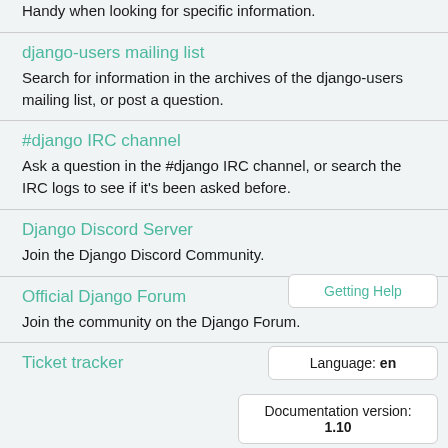Handy when looking for specific information.
django-users mailing list
Search for information in the archives of the django-users mailing list, or post a question.
#django IRC channel
Ask a question in the #django IRC channel, or search the IRC logs to see if it's been asked before.
Django Discord Server
Join the Django Discord Community.
Getting Help
Official Django Forum
Join the community on the Django Forum.
Language: en
Documentation version: 1.10
Ticket tracker